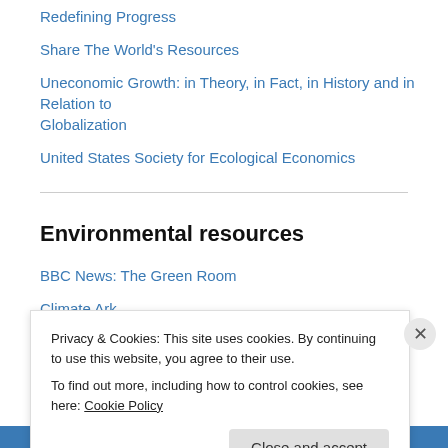Redefining Progress
Share The World's Resources
Uneconomic Growth: in Theory, in Fact, in History and in Relation to Globalization
United States Society for Ecological Economics
Environmental resources
BBC News: The Green Room
Climate Ark
Earth Policy Institute
EcoEarth.Info
GreenFacts
Privacy & Cookies: This site uses cookies. By continuing to use this website, you agree to their use.
To find out more, including how to control cookies, see here: Cookie Policy